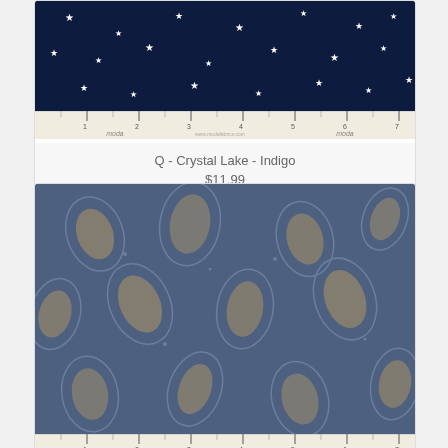[Figure (photo): Dark navy blue fabric with white star pattern, shown with a Moda ruler along the bottom edge]
Q - Crystal Lake - Indigo
$11.99
[Figure (photo): Steel blue fabric with tan/gold paisley pattern, shown with a Moda ruler along the bottom edge]
Q - Crystal Lake - Indigo